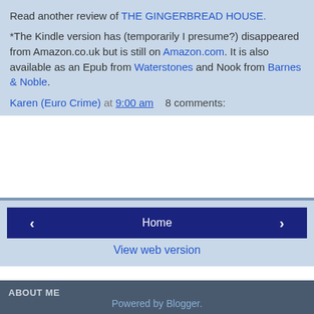Read another review of THE GINGERBREAD HOUSE.
*The Kindle version has (temporarily I presume?) disappeared from Amazon.co.uk but is still on Amazon.com. It is also available as an Epub from Waterstones and Nook from Barnes & Noble.
Karen (Euro Crime) at 9:00 am   8 comments:
[Figure (screenshot): Navigation bar with left arrow button, Home button, and right arrow button, plus View web version link]
ABOUT ME
[Figure (photo): Profile photo of Karen (Euro Crime) showing a person outdoors with hills in background]
Karen (Euro Crime)
Library Assistant, Cat Owner, Doctor Who, Star Trek and Crime Fiction fan.
View my complete profile
Powered by Blogger.